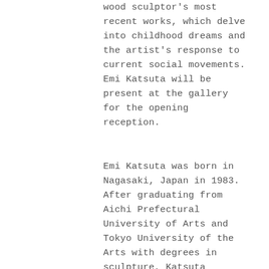wood sculptor's most recent works, which delve into childhood dreams and the artist's response to current social movements. Emi Katsuta will be present at the gallery for the opening reception.
Emi Katsuta was born in Nagasaki, Japan in 1983. After graduating from Aichi Prefectural University of Arts and Tokyo University of the Arts with degrees in sculpture, Katsuta quickly became known through Asia for her childlike wood sculptures through which she explores loneliness, secret desires, and women's rights. After having been featured in numerous group and solo exhibitions in Japan, China, Taiwan, and the United States, Emi Katsuta now brings her unique perspective to New York City for the first time.